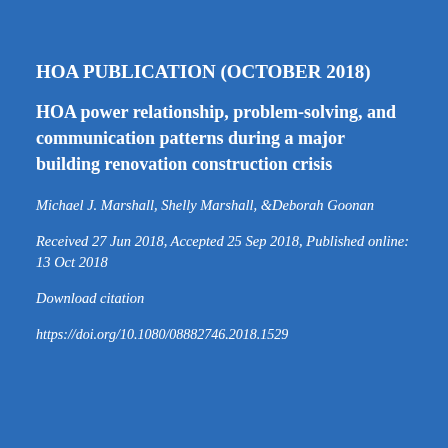HOA PUBLICATION (OCTOBER 2018)
HOA power relationship, problem-solving, and communication patterns during a major building renovation construction crisis
Michael J. Marshall, Shelly Marshall, &Deborah Goonan
Received 27 Jun 2018, Accepted 25 Sep 2018, Published online: 13 Oct 2018
Download citation
https://doi.org/10.1080/08882746.2018.1529